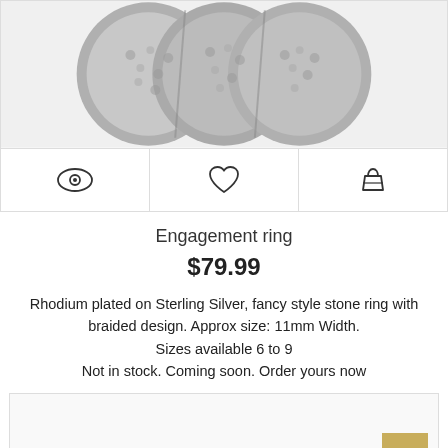[Figure (photo): Close-up photo of a rhodium-plated sterling silver engagement ring with braided pavé stone design, shown from top view on white background]
[Figure (other): Three icon buttons: eye (quick view), heart (wishlist), basket (add to cart)]
Engagement ring
$79.99
Rhodium plated on Sterling Silver, fancy style stone ring with braided design. Approx size: 11mm Width. Sizes available 6 to 9 Not in stock. Coming soon. Order yours now